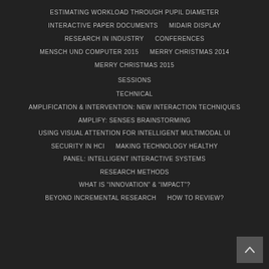ESTIMATING WORKLOAD THROUGH PUPIL DIAMETER
INTERACTIVE PAPER DOCUMENTS
MIDAIR DISPLAY
RESEARCH IN INDUSTRY
CONFERENCES
MENSCH UND COMPUTER 2015
MERRY CHRISTMAS 2014
MERRY CHRISTMAS 2015
SESSIONS
TECHNICAL
AMPLIFICATION & INTERVENTION: NEW INTERACTION TECHNIQUES
AMPLIFY: SENSES BRAINSTORMING
USING VISUAL ATTENTION FOR INTELLIGENT MULTIMODAL UI
SECURITY IN HCI
MAKING TECHNOLOGY HEALTHY
PANEL: INTELLIGENT INTERACTIVE SYSTEMS
RESEARCH METHODS
WHAT IS “INNOVATION” & “IMPACT”?
BEYOND INCREMENTAL RESEARCH
HOW TO REVIEW?